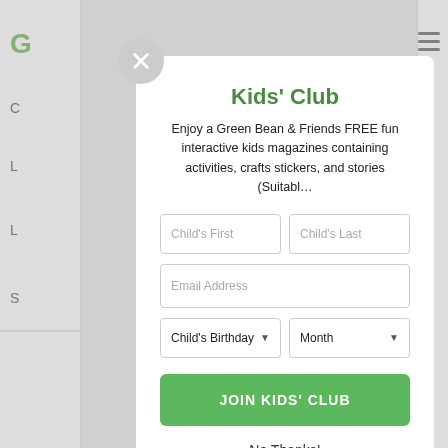Kids' Club
Enjoy a Green Bean & Friends FREE fun interactive kids magazines containing activities, crafts stickers, and stories (Suitabl…
[Figure (screenshot): Modal signup form with fields: Child's First, Child's Last, Email Address, Child's Birthday dropdown, Month dropdown, JOIN KIDS' CLUB button, and No Thanks! link]
No Thanks!